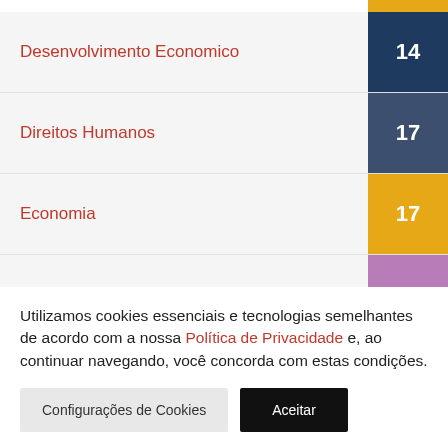| Category | Value |
| --- | --- |
| Desenvolvimento Economico | 14 |
| Direitos Humanos | 17 |
| Economia | 17 |
| Educação | 16 |
| Esporte | 11 |
| Jurídico | 10 |
Utilizamos cookies essenciais e tecnologias semelhantes de acordo com a nossa Política de Privacidade e, ao continuar navegando, você concorda com estas condições.